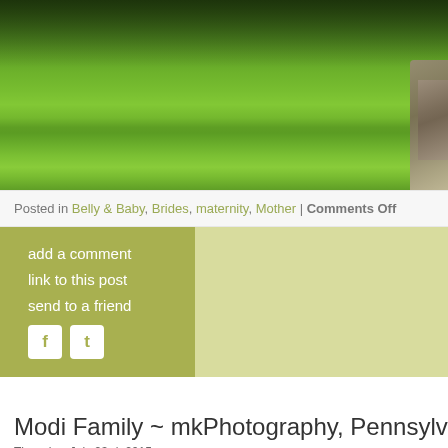[Figure (photo): Wide landscape photo of a green meadow/wetland with lush vegetation and trees in the background; a bridge railing visible at right edge]
Posted in Belly & Baby, Brides, maternity, Mother | Comments Off
add a comment
link to this post
send to a friend
Modi Family ~ mkPhotography, Pennsylvania Family Ph
Thursday, July 23rd, 2015
This is our 6th fabulous session with the Modi family, from belly to baby to a year o